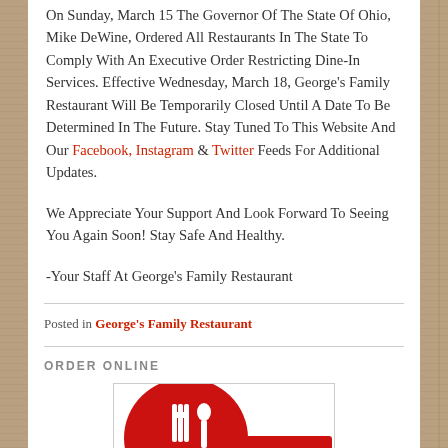On Sunday, March 15 The Governor Of The State Of Ohio, Mike DeWine, Ordered All Restaurants In The State To Comply With An Executive Order Restricting Dine-In Services. Effective Wednesday, March 18, George's Family Restaurant Will Be Temporarily Closed Until A Date To Be Determined In The Future. Stay Tuned To This Website And Our Facebook, Instagram & Twitter Feeds For Additional Updates.
We Appreciate Your Support And Look Forward To Seeing You Again Soon! Stay Safe And Healthy.
-Your Staff At George's Family Restaurant
Posted in George's Family Restaurant
ORDER ONLINE
[Figure (logo): George's Family Restaurant logo — red circular emblem with fork and spoon icon]